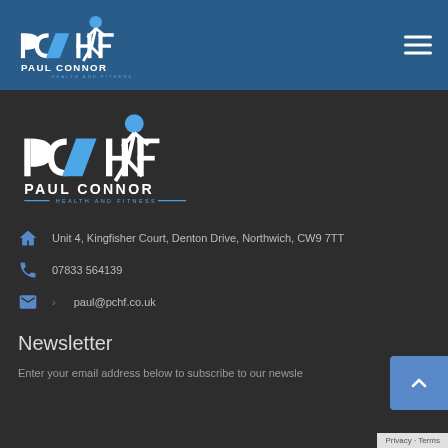Paul Connor Health and Fitness - header logo and navigation
[Figure (logo): PCHF Paul Connor Health and Fitness logo, large version on dark background]
Unit 4, Kingfisher Court, Denton Drive, Northwich, CW9 7TT
07833 564139
paul@pchf.co.uk
Newsletter
Enter your email address below to subscribe to our newsle…